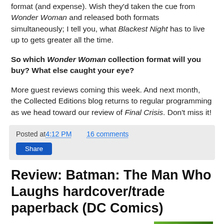format (and expense). Wish they'd taken the cue from Wonder Woman and released both formats simultaneously; I tell you, what Blackest Night has to live up to gets greater all the time.
So which Wonder Woman collection format will you buy? What else caught your eye?
More guest reviews coming this week. And next month, the Collected Editions blog returns to regular programming as we head toward our review of Final Crisis. Don't miss it!
Posted at 4:12 PM    16 comments
Share
Review: Batman: The Man Who Laughs hardcover/trade paperback (DC Comics)
[This review comes from Adam J. Noble, a publi